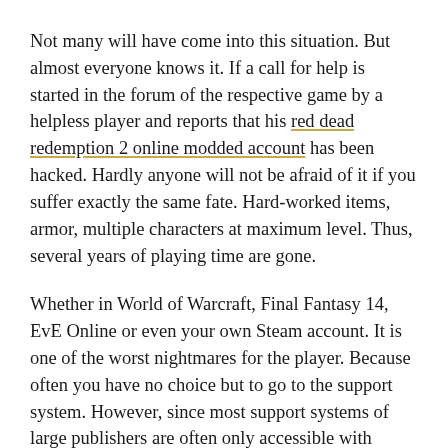Not many will have come into this situation. But almost everyone knows it. If a call for help is started in the forum of the respective game by a helpless player and reports that his red dead redemption 2 online modded account has been hacked. Hardly anyone will not be afraid of it if you suffer exactly the same fate. Hard-worked items, armor, multiple characters at maximum level. Thus, several years of playing time are gone.
Whether in World of Warcraft, Final Fantasy 14, EvE Online or even your own Steam account. It is one of the worst nightmares for the player. Because often you have no choice but to go to the support system. However, since most support systems of large publishers are often only accessible with access data, you have to rely on the next best support email and hope that an answer will come very soon. And it often takes a lot of time.